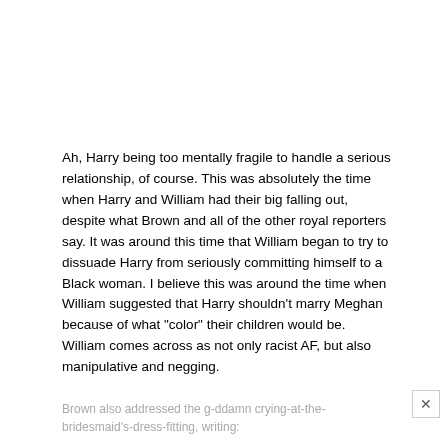Ah, Harry being too mentally fragile to handle a serious relationship, of course. This was absolutely the time when Harry and William had their big falling out, despite what Brown and all of the other royal reporters say. It was around this time that William began to try to dissuade Harry from seriously committing himself to a Black woman. I believe this was around the time when William suggested that Harry shouldn't marry Meghan because of what “color” their children would be. William comes across as not only racist AF, but also manipulative and negging.
Brown also addressed the g-ddamn crying-at-the-bridesmaid’s-dress-fitting, writing: